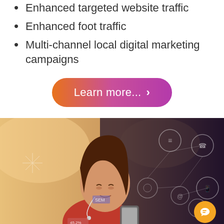Enhanced targeted website traffic
Enhanced foot traffic
Multi-channel local digital marketing campaigns
[Figure (other): Orange-to-purple gradient rounded pill button with text 'Learn more... >' in white]
[Figure (photo): Woman in red jacket with earphones looking at smartphone, overlaid with digital marketing network icons on dark right side]